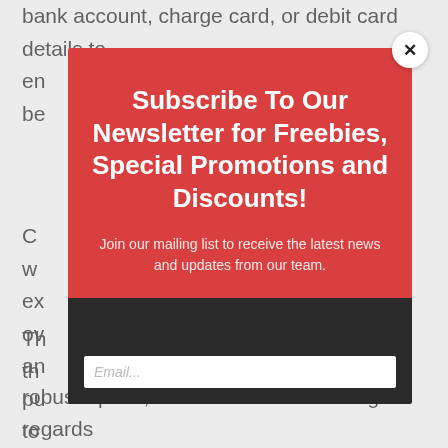bank account, charge card, or debit card details to
en...
be...
C... s w... ex... ov... an... pu... to... cr...
[Figure (infographic): Red newsletter subscription modal popup with white close button (×) in top-right corner. Title: 'Subscribe To Our Newsletter for Freebies, Special Promotions and Discounts!' Subtitle: 'Join our mailing list to receive the latest news and updates from our team.' Below is a dark bar with an email input field.]
Th... th...
robust option, however it is still lacking in regards